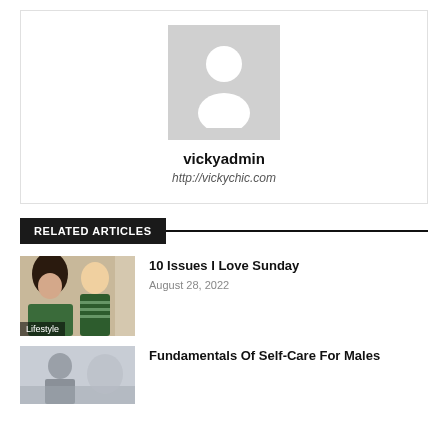[Figure (illustration): Default avatar placeholder: grey rectangle with white silhouette of a person]
vickyadmin
http://vickychic.com
RELATED ARTICLES
[Figure (photo): Photo of a woman and a child in green striped clothing, laughing, with a kitchen background]
Lifestyle
10 Issues I Love Sunday
August 28, 2022
[Figure (photo): Partially visible photo of a person, cropped at bottom of page]
Fundamentals Of Self-Care For Males